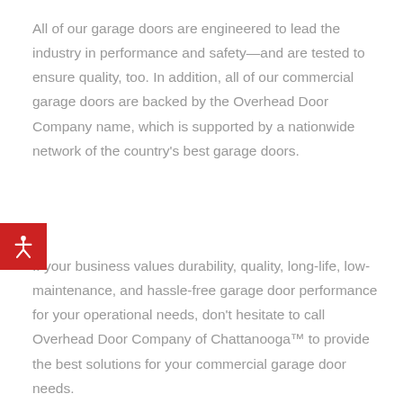All of our garage doors are engineered to lead the industry in performance and safety—and are tested to ensure quality, too. In addition, all of our commercial garage doors are backed by the Overhead Door Company name, which is supported by a nationwide network of the country's best garage doors.
[Figure (illustration): Red square accessibility button with white stick-figure person icon (wheelchair accessibility symbol)]
If your business values durability, quality, long-life, low-maintenance, and hassle-free garage door performance for your operational needs, don't hesitate to call Overhead Door Company of Chattanooga™ to provide the best solutions for your commercial garage door needs.